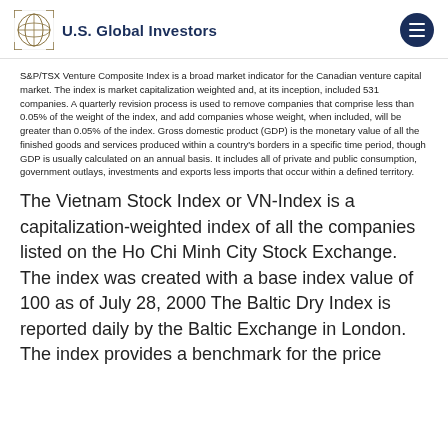U.S. Global Investors
S&P/TSX Venture Composite Index is a broad market indicator for the Canadian venture capital market. The index is market capitalization weighted and, at its inception, included 531 companies. A quarterly revision process is used to remove companies that comprise less than 0.05% of the weight of the index, and add companies whose weight, when included, will be greater than 0.05% of the index. Gross domestic product (GDP) is the monetary value of all the finished goods and services produced within a country's borders in a specific time period, though GDP is usually calculated on an annual basis. It includes all of private and public consumption, government outlays, investments and exports less imports that occur within a defined territory.
The Vietnam Stock Index or VN-Index is a capitalization-weighted index of all the companies listed on the Ho Chi Minh City Stock Exchange. The index was created with a base index value of 100 as of July 28, 2000 The Baltic Dry Index is reported daily by the Baltic Exchange in London. The index provides a benchmark for the price